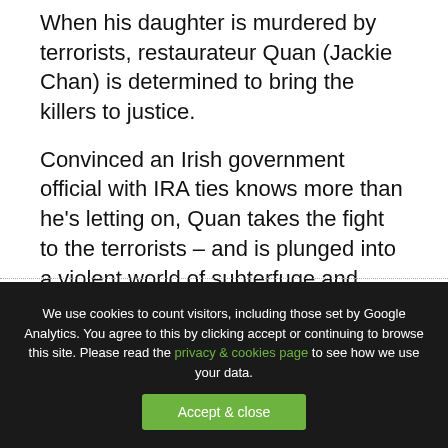When his daughter is murdered by terrorists, restaurateur Quan (Jackie Chan) is determined to bring the killers to justice.
Convinced an Irish government official with IRA ties knows more than he's letting on, Quan takes the fight to the terrorists – and is plunged into a violent world of subterfuge and betrayal.
We use cookies to count visitors, including those set by Google Analytics. You agree to this by clicking accept or continuing to browse this site. Please read the privacy & cookies page to see how we use your data.